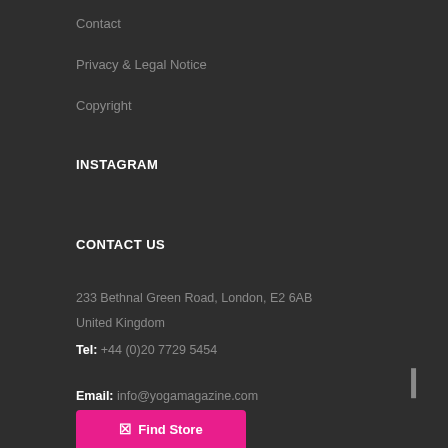Contact
Privacy & Legal Notice
Copyright
INSTAGRAM
CONTACT US
233 Bethnal Green Road, London, E2 6AB
United Kingdom
Tel: +44 (0)20 7729 5454
Email: info@yogamagazine.com
Find Store